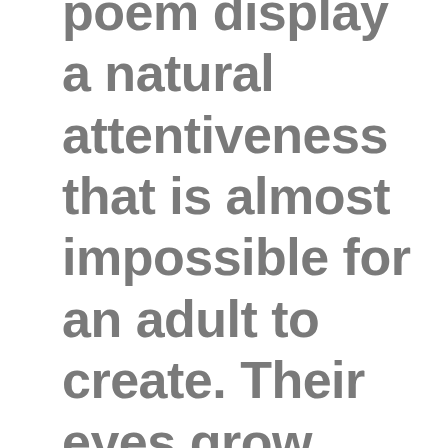poem display a natural attentiveness that is almost impossible for an adult to create. Their eyes grow larger with expectation as the poem develops. During my 25 years of teaching elementary age children, I have never had